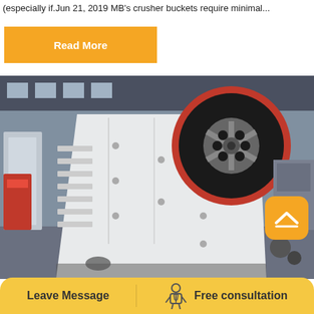(especially if.Jun 21, 2019 MB's crusher buckets require minimal...
Read More
[Figure (photo): Industrial jaw crusher machine in a factory setting, white body with large black and red flywheel, heavy machinery equipment in a workshop/manufacturing facility]
Leave Message
Free consultation